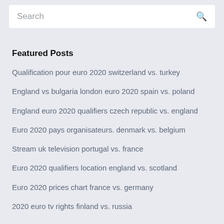Search
Featured Posts
Qualification pour euro 2020 switzerland vs. turkey
England vs bulgaria london euro 2020 spain vs. poland
England euro 2020 qualifiers czech republic vs. england
Euro 2020 pays organisateurs. denmark vs. belgium
Stream uk television portugal vs. france
Euro 2020 qualifiers location england vs. scotland
Euro 2020 prices chart france vs. germany
2020 euro tv rights finland vs. russia